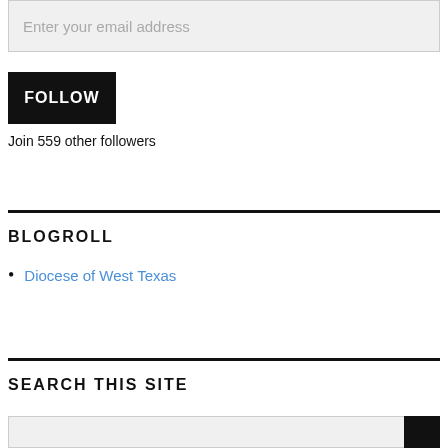Enter your email address
FOLLOW
Join 559 other followers
BLOGROLL
Diocese of West Texas
SEARCH THIS SITE